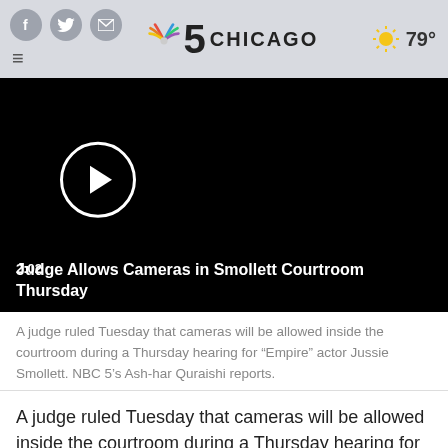NBC 5 Chicago — social icons, hamburger menu, weather 79°
[Figure (screenshot): Video player with black background, play button circle, timestamp 2:02, title 'Judge Allows Cameras in Smollett Courtroom Thursday']
A judge ruled Tuesday that cameras will be allowed inside the courtroom during a Thursday hearing for "Empire" actor Jussie Smollett. NBC 5's Ash-har Quraishi reports.
A judge ruled Tuesday that cameras will be allowed inside the courtroom during a Thursday hearing for "Empire" actor Jussie